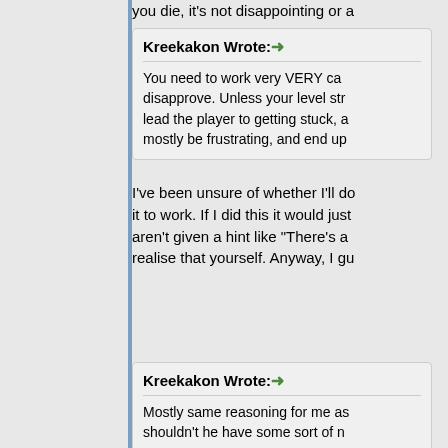you die, it's not disappointing or a
Kreekakon Wrote: ➜
You need to work very VERY ca disapprove. Unless your level str lead the player to getting stuck, a mostly be frustrating, and end up
I've been unsure of whether I'll dc it to work. If I did this it would just aren't given a hint like "There's a realise that yourself. Anyway, I gu
Kreekakon Wrote: ➜
Mostly same reasoning for me as shouldn't he have some sort of n
The idea behind this wasn't to ma you'll have some good time at the the house & try each key. It was n remember which key goes to wha right key. They would be describe each one would be distinctive. Als